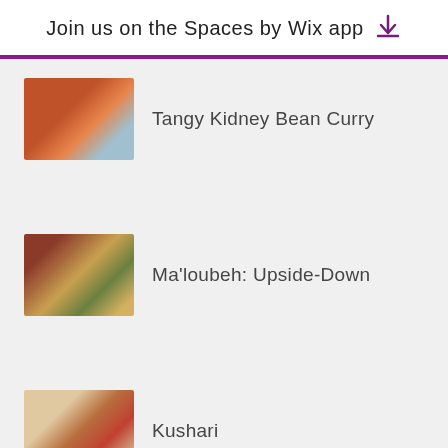Join us on the Spaces by Wix app
Tangy Kidney Bean Curry
Ma'loubeh: Upside-Down
Kushari
Muhammara